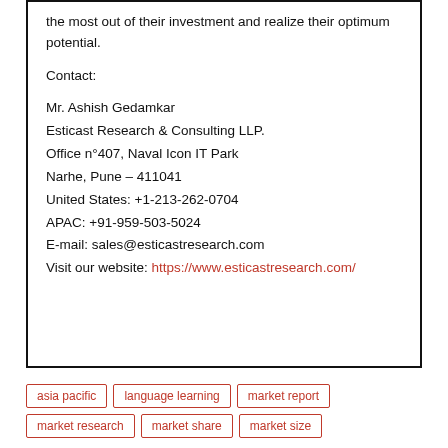the most out of their investment and realize their optimum potential.
Contact:
Mr. Ashish Gedamkar
Esticast Research & Consulting LLP.
Office n°407, Naval Icon IT Park
Narhe, Pune – 411041
United States: +1-213-262-0704
APAC: +91-959-503-5024
E-mail: sales@esticastresearch.com
Visit our website: https://www.esticastresearch.com/
asia pacific
language learning
market report
market research
market share
market size